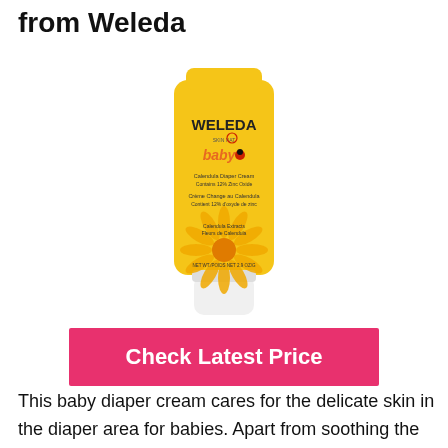from Weleda
[Figure (photo): Yellow tube of Weleda Baby Calendula Diaper Cream with white cap, featuring Weleda logo and baby branding with yellow calendula flower illustration]
Check Latest Price
This baby diaper cream cares for the delicate skin in the diaper area for babies. Apart from soothing the skin, it reduces the appearance of redness, while supporting the natural healing of skin cells from environmental damage.